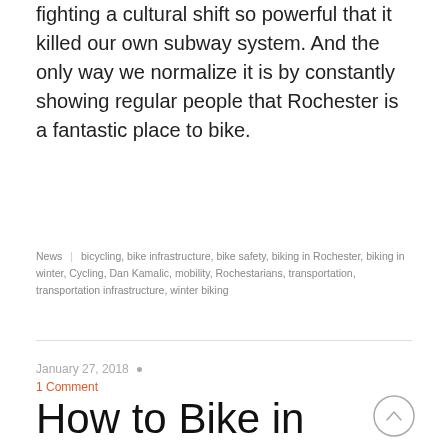fighting a cultural shift so powerful that it killed our own subway system.  And the only way we normalize it is by constantly showing regular people that Rochester is a fantastic place to bike.
News  |  bicycling, bike infrastructure, bike safety, biking in Rochester, biking in winter, Cycling, Dan Kamalic, mobility, Rochestarians, transportation, transportation infrastructure, winter biking
January 27, 2018  •  1 Comment
How to Bike in Winter… with Mona Seghatoleslami